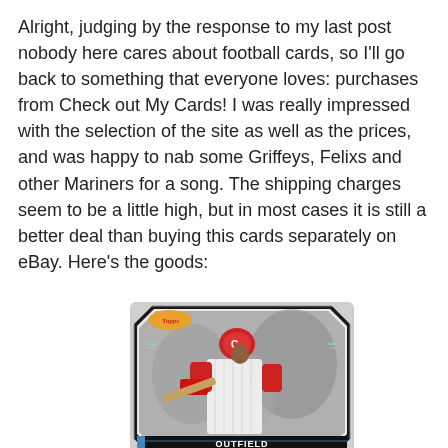Alright, judging by the response to my last post nobody here cares about football cards, so I'll go back to something that everyone loves: purchases from Check out My Cards! I was really impressed with the selection of the site as well as the prices, and was happy to nab some Griffeys, Felixs and other Mariners for a song. The shipping charges seem to be a little high, but in most cases it is still a better deal than buying this cards separately on eBay. Here's the goods:
[Figure (photo): A Topps baseball card showing a Cincinnati Reds outfielder in a red helmet and pinstripe uniform, in a batting stance. The card has a silver/chrome border with an octagonal design pattern. At the bottom of the card is a black label reading 'OUTFIELD'.]